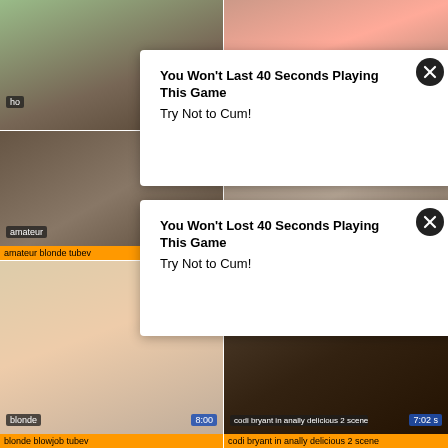[Figure (screenshot): Video thumbnail grid showing adult video website with two ad overlays. Top row: two partially visible thumbnails. Middle row: 'amateur blonde tubev' (26:50) and 'busty ebony whore in threesome sex' (56:07). Bottom row: 'blonde blowjob tubev' (8:00) and 'codi bryant in anally delicious 2 scene' (7:02). Two white popup ad overlays with black X close buttons appear over the grid, both reading 'You Won't Last/Lost 40 Seconds Playing This Game / Try Not to Cum!']